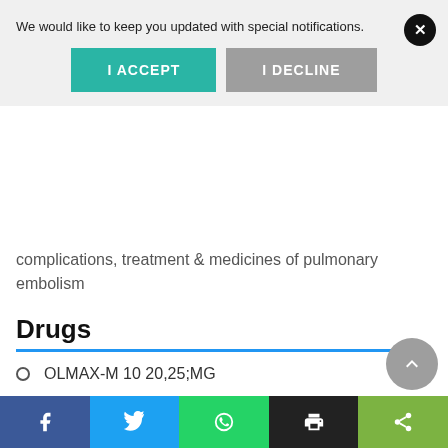[Figure (screenshot): Notification overlay bar with 'We would like to keep you updated with special notifications.' text, an X close button, and two buttons: I ACCEPT (teal) and I DECLINE (gray)]
complications, treatment & medicines of pulmonary embolism
Drugs
OLMAX-M 10 20,25;MG
CEBROX-GP 100ML N.I.
EUGLITOL 10-Oct 25/50;MG
EVERTIN 4.6MG
[Figure (screenshot): Social share bar at bottom with Facebook, Twitter, WhatsApp, Print, and Share icons]